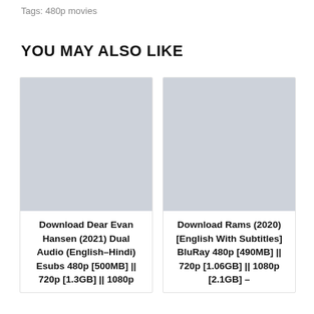Tags: 480p movies
YOU MAY ALSO LIKE
[Figure (photo): Placeholder image for Download Dear Evan Hansen (2021) Dual Audio (English-Hindi) Esubs 480p [500MB] || 720p [1.3GB] || 1080p]
Download Dear Evan Hansen (2021) Dual Audio (English-Hindi) Esubs 480p [500MB] || 720p [1.3GB] || 1080p
[Figure (photo): Placeholder image for Download Rams (2020) [English With Subtitles] BluRay 480p [490MB] || 720p [1.06GB] || 1080p [2.1GB] –]
Download Rams (2020) [English With Subtitles] BluRay 480p [490MB] || 720p [1.06GB] || 1080p [2.1GB] –